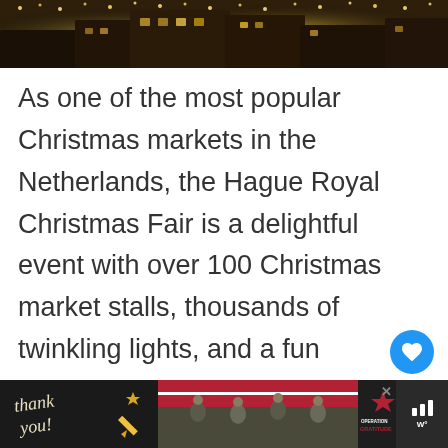[Figure (photo): Top portion of a nighttime Christmas market scene with warm golden lights illuminating trees and buildings]
As one of the most popular Christmas markets in the Netherlands, the Hague Royal Christmas Fair is a delightful event with over 100 Christmas market stalls, thousands of twinkling lights, and a fun programme of festive activities. If you're currently planning your own trip, simply curious about what this
[Figure (illustration): Heart/like button (blue circle with white heart icon)]
[Figure (illustration): Share button (white circle with share icon)]
[Figure (screenshot): WHAT'S NEXT callout showing German Christmas thumbnail]
[Figure (illustration): Advertisement banner for Operation Gratitude with thank you handwriting, military photos, and weather widget]